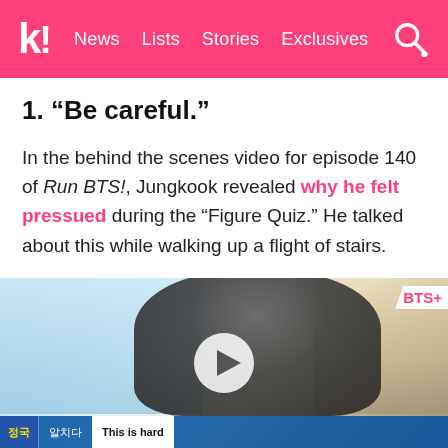k! News Lists Stories Exclusives
1. “Be careful.”
In the behind the scenes video for episode 140 of Run BTS!, Jungkook revealed why he felt pressued during the “Figure Quiz.” He talked about this while walking up a flight of stairs.
[Figure (screenshot): Video thumbnail showing a person walking up stairs, with a play button overlay. BTS+ logo in top right corner. Korean subtitle bar at bottom reading '정국' and '알치다 / This is hard']